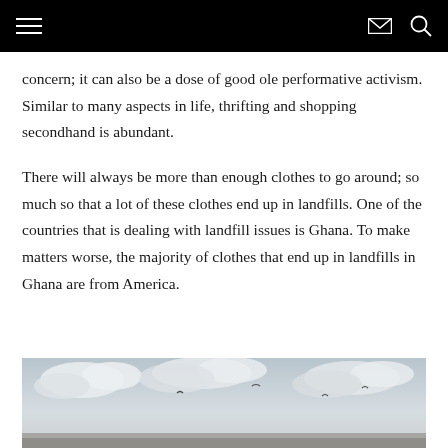concern; it can also be a dose of good ole performative activism. Similar to many aspects in life, thrifting and shopping secondhand is abundant.
There will always be more than enough clothes to go around; so much so that a lot of these clothes end up in landfills. One of the countries that is dealing with landfill issues is Ghana. To make matters worse, the majority of clothes that end up in landfills in Ghana are from America.
[Figure (photo): Sky with clouds and birds flying overhead, partial view of a landscape at the bottom edge]